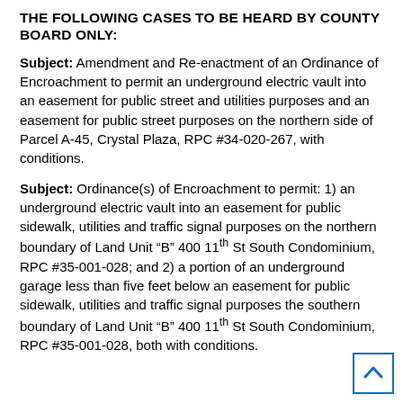THE FOLLOWING CASES TO BE HEARD BY COUNTY BOARD ONLY:
Subject: Amendment and Re-enactment of an Ordinance of Encroachment to permit an underground electric vault into an easement for public street and utilities purposes and an easement for public street purposes on the northern side of Parcel A-45, Crystal Plaza, RPC #34-020-267, with conditions.
Subject: Ordinance(s) of Encroachment to permit: 1) an underground electric vault into an easement for public sidewalk, utilities and traffic signal purposes on the northern boundary of Land Unit "B" 400 11th St South Condominium, RPC #35-001-028; and 2) a portion of an underground garage less than five feet below an easement for public sidewalk, utilities and traffic signal purposes the southern boundary of Land Unit "B" 400 11th St South Condominium, RPC #35-001-028, both with conditions.